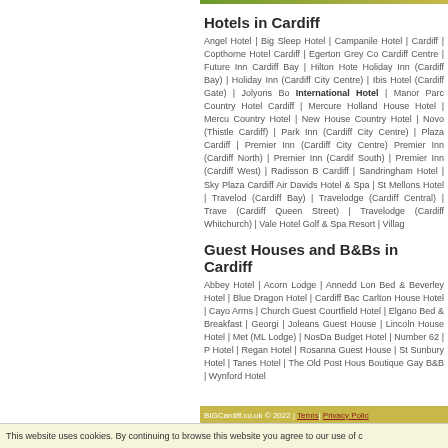Hotels in Cardiff
Angel Hotel | Big Sleep Hotel | Campanile Hotel | Cardiff | Copthorne Hotel Cardiff | Egerton Grey Co Cardiff Centre | Future Inn Cardiff Bay | Hilton Hote Holiday Inn (Cardiff Bay) | Holiday Inn (Cardiff City Centre) | Ibis Hotel (Cardiff Gate) | Jolyons Bo International Hotel | Manor Parc Country Hotel Cardiff | Mercure Holland House Hotel | Mercu Country Hotel | New House Country Hotel | Novo (Thistle Cardiff) | Park Inn (Cardiff City Centre) | Plaza Cardiff | Premier Inn (Cardiff City Centre) Premier Inn (Cardiff North) | Premier Inn (Cardif South) | Premier Inn (Cardiff West) | Radisson B Cardiff | Sandringham Hotel | Sky Plaza Cardiff Air Davids Hotel & Spa | St Mellons Hotel | Travelod (Cardiff Bay) | Travelodge (Cardiff Central) | Trave (Cardiff Queen Street) | Travelodge (Cardiff Whitchurch) | Vale Hotel Golf & Spa Resort | Villag
Guest Houses and B&Bs in Cardiff
Abbey Hotel | Acorn Lodge | Annedd Lon Bed & Beverley Hotel | Blue Dragon Hotel | Cardiff Bac Carlton House Hotel | Cayo Arms | Church Guest Courtfield Hotel | Elgano Bed & Breakfast | Georgi | Joleans Guest House | Lincoln House Hotel | Me (ML Lodge) | NosDa Budget Hotel | Number 62 | P Hotel | Regan Hotel | Rosanna Guest House | St Sunbury Hotel | Tanes Hotel | The Old Post Hous Boutique Gay B&B | Wynford Hotel
BIGCardiff.co.uk © 2022 | Terms | Privacy Polic
This website uses cookies. By continuing to browse this website you agree to our use of c